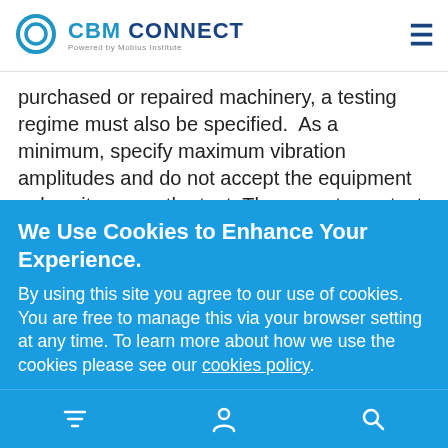CBM CONNECT — Powered by Mobius Institute
purchased or repaired machinery, a testing regime must also be specified.  As a minimum, specify maximum vibration amplitudes and do not accept the equipment unless it passes the test. The acceptance test specification will likely need to also specify the operating speed and load under which the test is performed, and the test may need to be performed at your site (if the
We Use Cookies to Enhance Your Experience.
By using this site you agree to our use of cookies. You are free to manage this via your browser setting at any time. To learn more about how we use the cookies please see our cookies policy.
Accept & Close